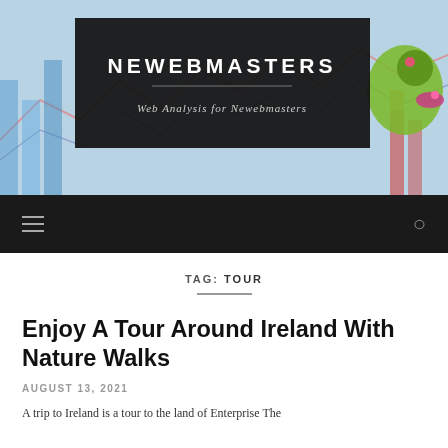[Figure (screenshot): Website header banner for NEWEBMASTERS blog with charts/graphs background image, dark overlay box containing site name and tagline, and a cartoon chameleon figure on the right side.]
NEWEBMASTERS
Web Analysis for Newebmasters
TAG: TOUR
Enjoy A Tour Around Ireland With Nature Walks
AUGUST 13, 2021
A trip to Ireland is a tour to the land of Enterprise The